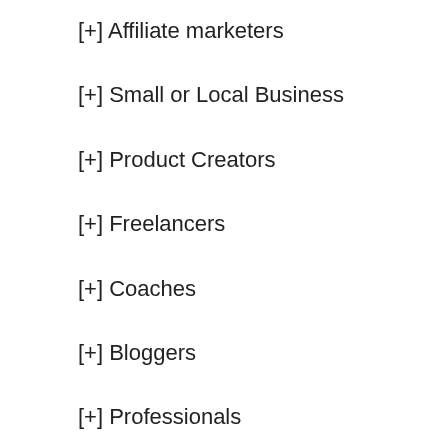[+] Affiliate marketers
[+] Small or Local Business
[+] Product Creators
[+] Freelancers
[+] Coaches
[+] Bloggers
[+] Professionals
[+] Newbies